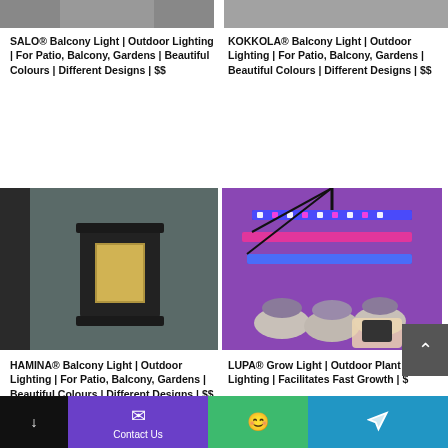[Figure (photo): Top portion of a product image for SALO Balcony Light (cropped at top)]
[Figure (photo): Top portion of a product image for KOKKOLA Balcony Light (cropped at top)]
SALO® Balcony Light | Outdoor Lighting | For Patio, Balcony, Gardens | Beautiful Colours | Different Designs | $$
KOKKOLA® Balcony Light | Outdoor Lighting | For Patio, Balcony, Gardens | Beautiful Colours | Different Designs | $$
[Figure (photo): HAMINA Balcony Light mounted on a dark wall, black rectangular fixture with glowing panel]
[Figure (photo): LUPA Grow Light with purple LED tubes over small succulent plants, with a remote control]
HAMINA® Balcony Light | Outdoor Lighting | For Patio, Balcony, Gardens | Beautiful Colours | Different Designs | $$
LUPA® Grow Light | Outdoor Plant Lighting | Facilitates Fast Growth | $
Contact Us